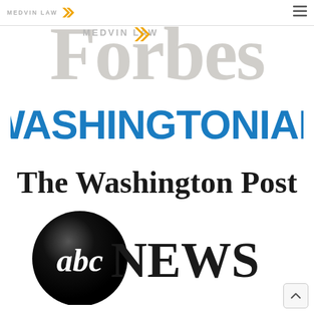[Figure (logo): Medvin Law logo with stylized arrow chevrons in orange/gold, overlaid on Forbes magazine logo in large bold serif font, light gray/faded]
[Figure (logo): WASHINGTONIAN logo in large bold blue uppercase sans-serif text]
[Figure (logo): The Washington Post logo in blackletter/Gothic serif font]
[Figure (logo): ABC News logo: black circular globe with 'abc' in white script, followed by 'NEWS' in large bold black serif text]